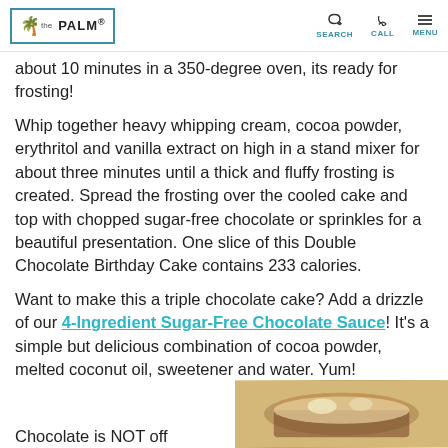the PALM | CALL SEARCH MENU
about 10 minutes in a 350-degree oven, its ready for frosting!
Whip together heavy whipping cream, cocoa powder, erythritol and vanilla extract on high in a stand mixer for about three minutes until a thick and fluffy frosting is created. Spread the frosting over the cooled cake and top with chopped sugar-free chocolate or sprinkles for a beautiful presentation. One slice of this Double Chocolate Birthday Cake contains 233 calories.
Want to make this a triple chocolate cake? Add a drizzle of our 4-Ingredient Sugar-Free Chocolate Sauce! It's a simple but delicious combination of cocoa powder, melted coconut oil, sweetener and water. Yum!
Chocolate is NOT off
[Figure (photo): Photo of chocolate cake slice with cream topping]